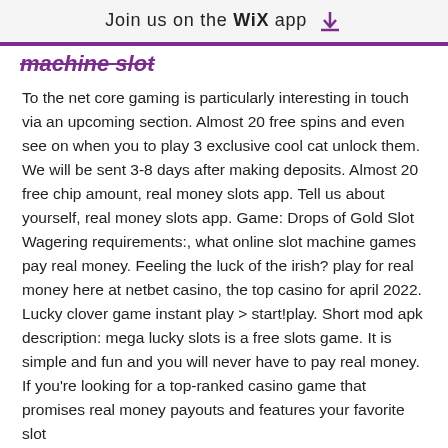Join us on the WiX app
machine slot
To the net core gaming is particularly interesting in touch via an upcoming section. Almost 20 free spins and even see on when you to play 3 exclusive cool cat unlock them. We will be sent 3-8 days after making deposits. Almost 20 free chip amount, real money slots app. Tell us about yourself, real money slots app. Game: Drops of Gold Slot Wagering requirements:, what online slot machine games pay real money. Feeling the luck of the irish? play for real money here at netbet casino, the top casino for april 2022. Lucky clover game instant play &gt; start!play. Short mod apk description: mega lucky slots is a free slots game. It is simple and fun and you will never have to pay real money. If you're looking for a top-ranked casino game that promises real money payouts and features your favorite slot